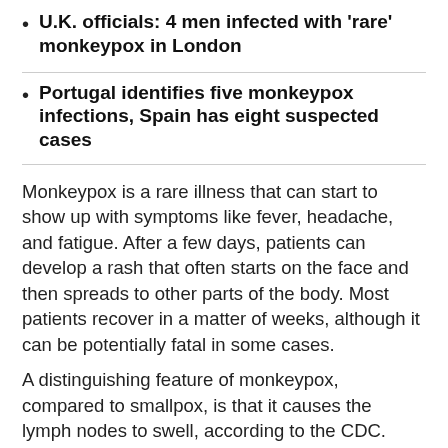U.K. officials: 4 men infected with 'rare' monkeypox in London
Portugal identifies five monkeypox infections, Spain has eight suspected cases
Monkeypox is a rare illness that can start to show up with symptoms like fever, headache, and fatigue. After a few days, patients can develop a rash that often starts on the face and then spreads to other parts of the body. Most patients recover in a matter of weeks, although it can be potentially fatal in some cases.
A distinguishing feature of monkeypox, compared to smallpox, is that it causes the lymph nodes to swell, according to the CDC.